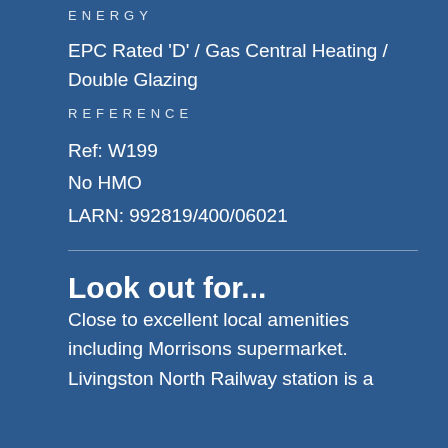ENERGY
EPC Rated 'D' / Gas Central Heating / Double Glazing
REFERENCE
Ref: W199
No HMO
LARN: 992819/400/06021
Look out for...
Close to excellent local amenities including Morrisons supermarket. Livingston North Railway station is a